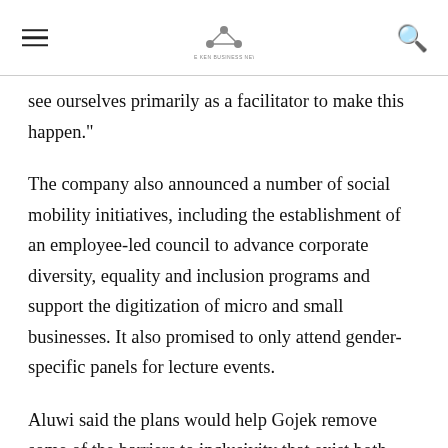[hamburger menu] [logo: The Ken Business News] [search icon]
see ourselves primarily as a facilitator to make this happen."
The company also announced a number of social mobility initiatives, including the establishment of an employee-led council to advance corporate diversity, equality and inclusion programs and support the digitization of micro and small businesses. It also promised to only attend gender-specific panels for lecture events.
Aluwi said the plans would help Gojek remove some of the barriers to inclusivity that exist both within the company and in Indonesia as a whole.
“We’re very, very far from where we need to be if I can be brutally honest with ourselves. But I think our commitments